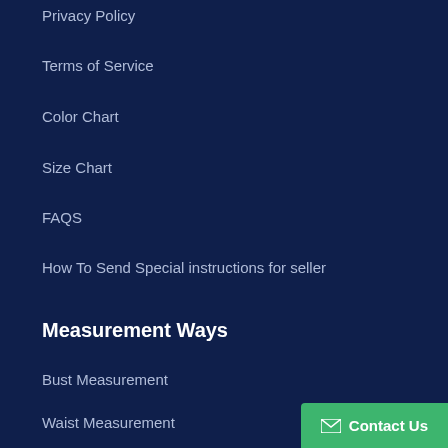Privacy Policy
Terms of Service
Color Chart
Size Chart
FAQS
How To Send Special instructions for seller
Measurement Ways
Bust Measurement
Waist Measurement
Contact Us